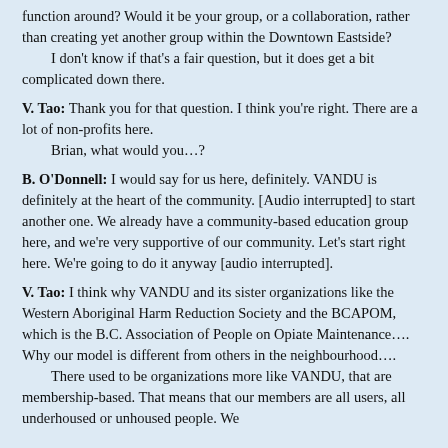function around? Would it be your group, or a collaboration, rather than creating yet another group within the Downtown Eastside?
	I don't know if that's a fair question, but it does get a bit complicated down there.
V. Tao: Thank you for that question. I think you're right. There are a lot of non-profits here.
	Brian, what would you…?
B. O'Donnell: I would say for us here, definitely. VANDU is definitely at the heart of the community. [Audio interrupted] to start another one. We already have a community-based education group here, and we're very supportive of our community. Let's start right here. We're going to do it anyway [audio interrupted].
V. Tao: I think why VANDU and its sister organizations like the Western Aboriginal Harm Reduction Society and the BCAPOM, which is the B.C. Association of People on Opiate Maintenance…. Why our model is different from others in the neighbourhood….
	There used to be organizations more like VANDU, that are membership-based. That means that our members are all users, all underhoused or unhoused people. We have always continue to are our benchmark from… The